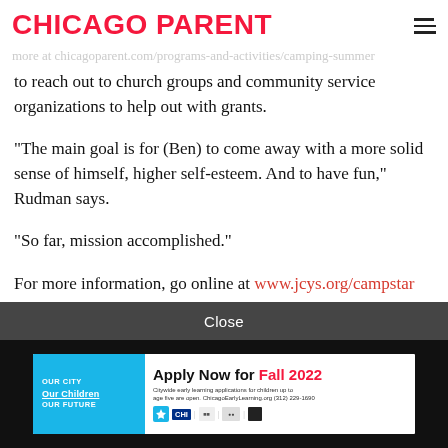CHICAGO PARENT
to reach out to church groups and community service organizations to help out with grants.
“The main goal is for (Ben) to come away with a more solid sense of himself, higher self-esteem. And to have fun,” Rudman says.
“So far, mission accomplished.”
For more information, go online at www.jcys.org/campstar
[Figure (infographic): Advertisement banner: Apply Now for Fall 2022 - Chicago Early Learning. Citywide early learning applications for children up to age five are open. ChicagoEarlyLearning.org (312) 229-1690. OUR CITY Our Children OUR FUTURE logo on cyan background. Partner logos including Chicago star, CHI, and other institutional marks.]